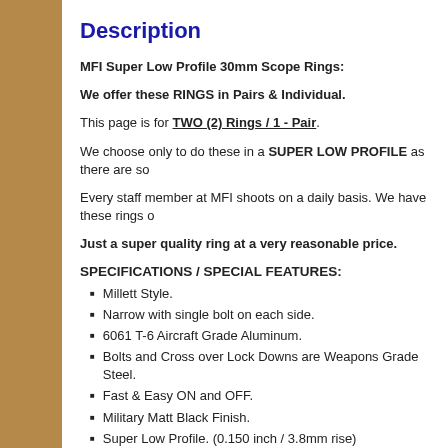Description
MFI Super Low Profile 30mm Scope Rings:
We offer these RINGS in Pairs & Individual.
This page is for TWO (2) Rings / 1 - Pair.
We choose only to do these in a SUPER LOW PROFILE as there are so
Every staff member at MFI shoots on a daily basis. We have these rings o
Just a super quality ring at a very reasonable price.
SPECIFICATIONS / SPECIAL FEATURES:
Millett Style.
Narrow with single bolt on each side.
6061 T-6 Aircraft Grade Aluminum.
Bolts and Cross over Lock Downs are Weapons Grade Steel.
Fast & Easy ON and OFF.
Military Matt Black Finish.
Super Low Profile. (0.150 inch / 3.8mm rise)